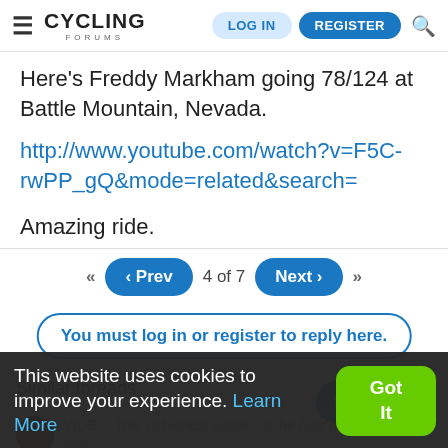CYCLING FORUMS | LOG IN | REGISTER
Here's Freddy Markham going 78/124 at Battle Mountain, Nevada.
http://www.youtube.com/watch?v=F5C-rwPP_gQ&mode=related&search=
Amazing ride.
◄◄  ◄ Prev  4 of 7  Next ►  ►►
You must log in or register to reply here.
Similar threads
This website uses cookies to improve your experience. Learn More
Got It
VIDEO: The 10 highest passes of the Alps on a touring bike
Dynamo2 · Touring and recreational cycling